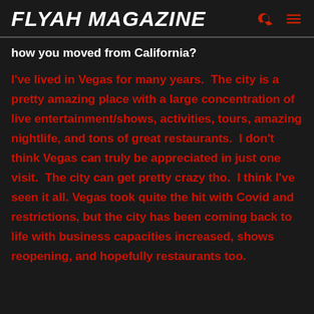FLYAH MAGAZINE
how you moved from California?
I've lived in Vegas for many years.  The city is a pretty amazing place with a large concentration of live entertainment/shows, activities, tours, amazing nightlife, and tons of great restaurants.  I don't think Vegas can truly be appreciated in just one visit.  The city can get pretty crazy tho.  I think I've seen it all.  Vegas took quite the hit with Covid and restrictions, but the city has been coming back to life with business capacities increased, shows reopening, and hopefully restaurants too.